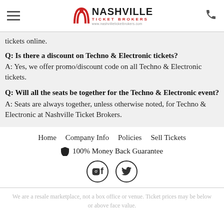Nashville Ticket Brokers — www.nashvilleticketbrokers.com
tickets online.
Q: Is there a discount on Techno & Electronic tickets?
A: Yes, we offer promo/discount code on all Techno & Electronic tickets.
Q: Will all the seats be together for the Techno & Electronic event?
A: Seats are always together, unless otherwise noted, for Techno & Electronic at Nashville Ticket Brokers.
Home  Company Info  Policies  Sell Tickets
🛡 100% Money Back Guarantee
f  𝕏
We are a resale marketplace, not a box office or venue. Ticket prices may be below or above face value.